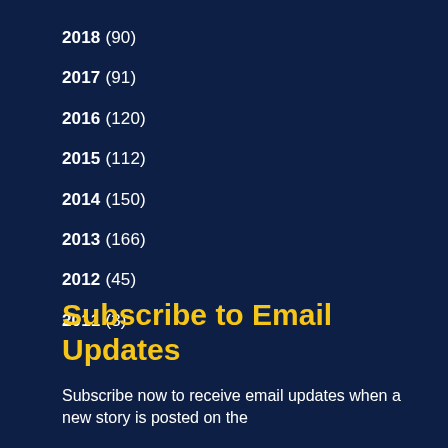2018 (90)
2017 (91)
2016 (120)
2015 (112)
2014 (150)
2013 (166)
2012 (45)
2011 (3)
Subscribe to Email Updates
Subscribe now to receive email updates when a new story is posted on the